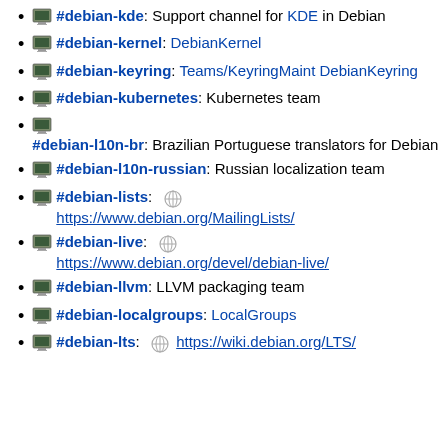#debian-kde: Support channel for KDE in Debian
#debian-kernel: DebianKernel
#debian-keyring: Teams/KeyringMaint DebianKeyring
#debian-kubernetes: Kubernetes team
#debian-l10n-br: Brazilian Portuguese translators for Debian
#debian-l10n-russian: Russian localization team
#debian-lists: https://www.debian.org/MailingLists/
#debian-live: https://www.debian.org/devel/debian-live/
#debian-llvm: LLVM packaging team
#debian-localgroups: LocalGroups
#debian-lts: https://wiki.debian.org/LTS/